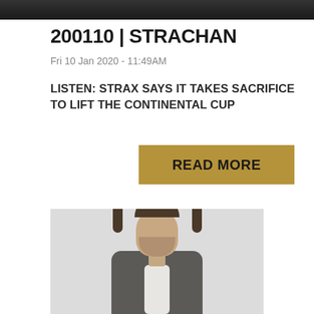[Figure (photo): Top portion of a person in dark clothing, cropped photo at top of page]
200110 | STRACHAN
Fri 10 Jan 2020 - 11:49AM
LISTEN: STRAX SAYS IT TAKES SACRIFICE TO LIFT THE CONTINENTAL CUP
READ MORE
[Figure (photo): Portrait photo of a man with brown hair and beard wearing a grey blazer against a light background]